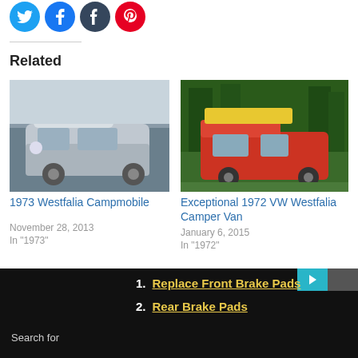[Figure (other): Social share icon buttons: Twitter (blue), Facebook (blue), Tumblr (dark blue), Pinterest (red)]
Related
[Figure (photo): Photo of a grey/silver 1973 VW Westfalia Campmobile van parked outdoors]
1973 Westfalia Campmobile
November 28, 2013
In "1973"
[Figure (photo): Photo of a red and yellow 1972 VW Westfalia Camper Van parked in a forest]
Exceptional 1972 VW Westfalia Camper Van
January 6, 2015
In "1972"
[Figure (photo): Photo of a red van with roof rack parked outdoors]
Search for
1. Replace Front Brake Pads
2. Rear Brake Pads